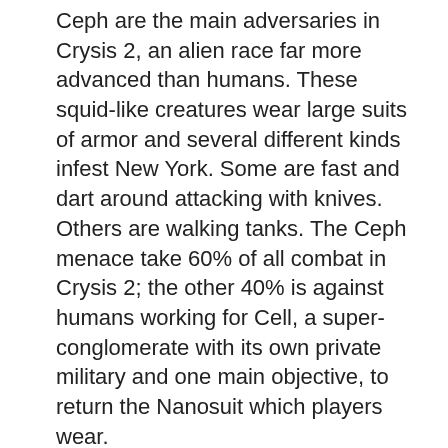Ceph are the main adversaries in Crysis 2, an alien race far more advanced than humans. These squid-like creatures wear large suits of armor and several different kinds infest New York. Some are fast and dart around attacking with knives. Others are walking tanks. The Ceph menace take 60% of all combat in Crysis 2; the other 40% is against humans working for Cell, a super-conglomerate with its own private military and one main objective, to return the Nanosuit which players wear.
Putting the story aside for a moment, Crysis 2 is essentially a sandbox FPS. Players are given a number of tools and simple, easy to understand objectives. There is no right or wrong way to complete any objective. This is half the reason the campaign is so fun. No matter how you play, each session is